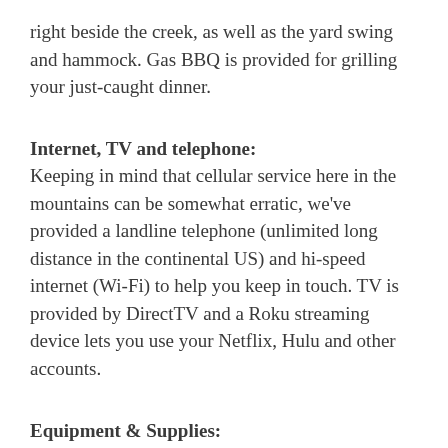right beside the creek, as well as the yard swing and hammock.  Gas BBQ is provided for grilling your just-caught dinner.
Internet, TV and telephone:
Keeping in mind that cellular service here in the mountains can be somewhat erratic, we've provided a landline telephone (unlimited long distance in the continental US) and hi-speed internet (Wi-Fi) to help you keep in touch.  TV is provided by DirectTV and a Roku streaming device lets you use your Netflix, Hulu and other accounts.
Equipment & Supplies:
Bedrooms & baths:  All sheets and towels are provided, with extra pillows, sheets, blankets & towels in the linen closet.  Bathrooms are supplied with bar soap, liquid hand soap, extra toilet paper and Kleenex, and hairdryer.  Kitchen is fully equipped with microwave